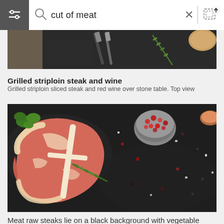[Figure (screenshot): Search bar UI with filter icon on the left, search icon, text 'cut of meat', X button, divider, and image upload icon on the right]
[Figure (photo): Partial view of grilled steak with knives, rosemary and a wooden cutting board on a dark stone surface]
Grilled striploin steak and wine
Grilled striploin sliced steak and red wine over stone table. Top view
[Figure (photo): Raw T-bone steaks on a black background with vegetables, pink peppercorns in a bowl, rosemary, and scattered salt and pepper]
Meat raw steaks lie on a black background with vegetable